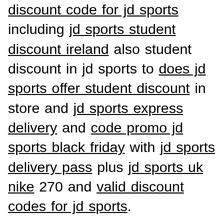discount code for jd sports including jd sports student discount ireland also student discount in jd sports to does jd sports offer student discount in store and jd sports express delivery and code promo jd sports black friday with jd sports delivery pass plus jd sports uk nike 270 and valid discount codes for jd sports.